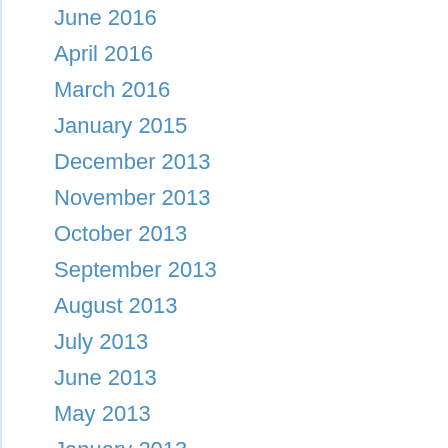June 2016
April 2016
March 2016
January 2015
December 2013
November 2013
October 2013
September 2013
August 2013
July 2013
June 2013
May 2013
January 2013
October 2012
September 2012
August 2012
July 2012
April 2012